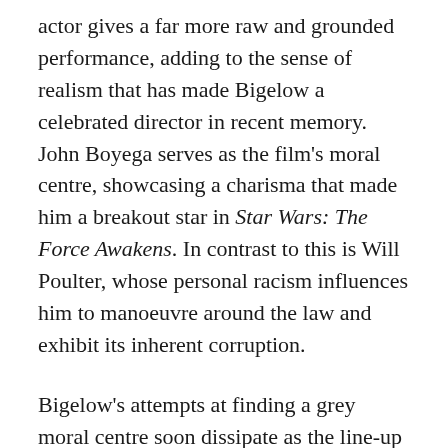actor gives a far more raw and grounded performance, adding to the sense of realism that has made Bigelow a celebrated director in recent memory. John Boyega serves as the film's moral centre, showcasing a charisma that made him a breakout star in Star Wars: The Force Awakens. In contrast to this is Will Poulter, whose personal racism influences him to manoeuvre around the law and exhibit its inherent corruption.
Bigelow's attempts at finding a grey moral centre soon dissipate as the line-up gets underway; despite her attempts to highlight the competency and impartiality of the police force during its opening section as a point of contrast, its central antagonists